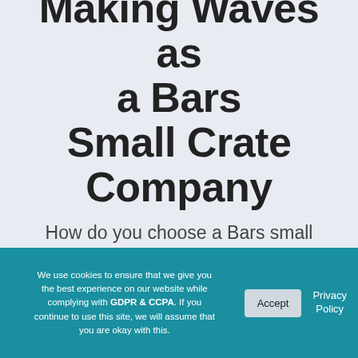Making Waves as a Bars Small Crate Company
How do you choose a Bars small crate manufacturer?
We use cookies to ensure that we give you the best experience on our website while complying with GDPR & CCPA. If you continue to use this site, we will assume that you are okay with this.